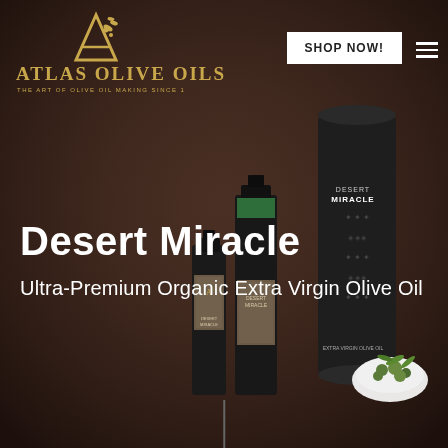[Figure (photo): Dark brown background with three Desert Miracle olive oil bottles/containers arranged on a surface, along with a small white bowl of green olives with leaves. The bottles are dark/black colored with decorative labels. A large cylindrical gift box with ornate pattern is on the right.]
[Figure (logo): Atlas Olive Oils logo with golden stylized letter A with olive branch decoration above, and the text ATLAS OLIVE OILS in gold serif font with tagline THE ART OF OLIVE OIL MAKING SINCE 1st below]
SHOP NOW!
Desert Miracle
Ultra-Premium Organic Extra Virgin Olive Oil